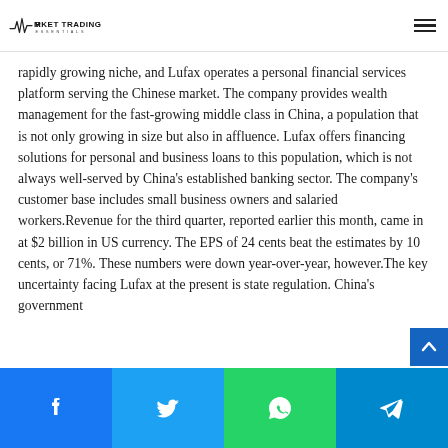Market Trading Essentials
rapidly growing niche, and Lufax operates a personal financial services platform serving the Chinese market. The company provides wealth management for the fast-growing middle class in China, a population that is not only growing in size but also in affluence. Lufax offers financing solutions for personal and business loans to this population, which is not always well-served by China's established banking sector. The company's customer base includes small business owners and salaried workers.Revenue for the third quarter, reported earlier this month, came in at $2 billion in US currency. The EPS of 24 cents beat the estimates by 10 cents, or 71%. These numbers were down year-over-year, however.The key uncertainty facing Lufax at the present is state regulation. China's government
Facebook Twitter WhatsApp Telegram